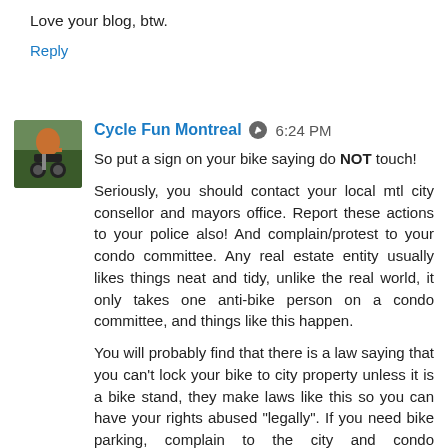Love your blog, btw.
Reply
Cycle Fun Montreal  6:24 PM
So put a sign on your bike saying do NOT touch!

Seriously, you should contact your local mtl city consellor and mayors office. Report these actions to your police also! And complain/protest to your condo committee. Any real estate entity usually likes things neat and tidy, unlike the real world, it only takes one anti-bike person on a condo committee, and things like this happen.

You will probably find that there is a law saying that you can't lock your bike to city property unless it is a bike stand, they make laws like this so you can have your rights abused "legally". If you need bike parking, complain to the city and condo commmittee.
Reply